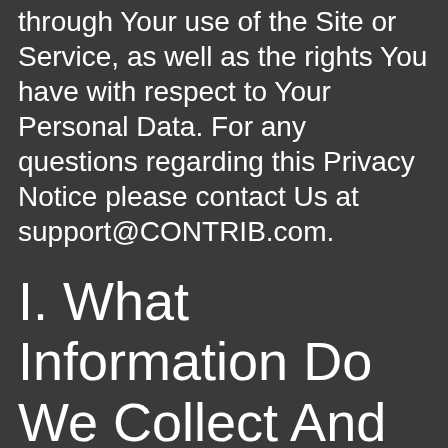through Your use of the Site or Service, as well as the rights You have with respect to Your Personal Data. For any questions regarding this Privacy Notice please contact Us at support@CONTRIB.com.
I. What Information Do We Collect And How Do We Use It?
This Privacy Notice describes HFSDFDF.BLOGSPOT.COM's collection, use, and disclosure of the information You provide to Us through Your use of the Site or